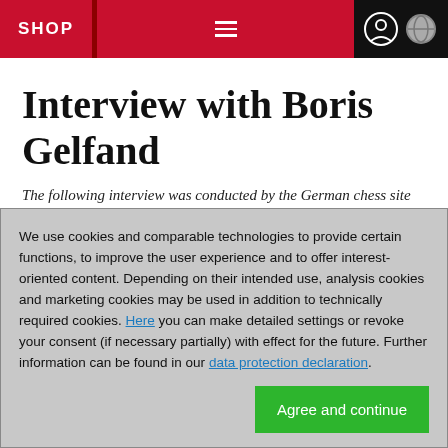SHOP
Interview with Boris Gelfand
The following interview was conducted by the German chess site Schachlinks.com.
Schachlinks: Hello Mr Gelfand! First of all congratulations for your very successful performance during the World Chess
We use cookies and comparable technologies to provide certain functions, to improve the user experience and to offer interest-oriented content. Depending on their intended use, analysis cookies and marketing cookies may be used in addition to technically required cookies. Here you can make detailed settings or revoke your consent (if necessary partially) with effect for the future. Further information can be found in our data protection declaration.